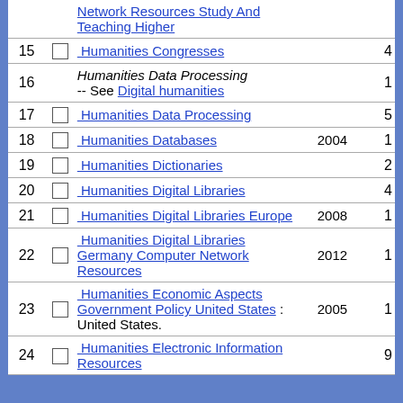| # |  | Subject | Year | Count |
| --- | --- | --- | --- | --- |
|  |  | Network Resources Study And Teaching Higher |  |  |
| 15 | ☐ | Humanities Congresses |  | 4 |
| 16 |  | Humanities Data Processing -- See Digital humanities |  | 1 |
| 17 | ☐ | Humanities Data Processing |  | 5 |
| 18 | ☐ | Humanities Databases | 2004 | 1 |
| 19 | ☐ | Humanities Dictionaries |  | 2 |
| 20 | ☐ | Humanities Digital Libraries |  | 4 |
| 21 | ☐ | Humanities Digital Libraries Europe | 2008 | 1 |
| 22 | ☐ | Humanities Digital Libraries Germany Computer Network Resources | 2012 | 1 |
| 23 | ☐ | Humanities Economic Aspects Government Policy United States : United States. | 2005 | 1 |
| 24 | ☐ | Humanities Electronic Information Resources |  | 9 |